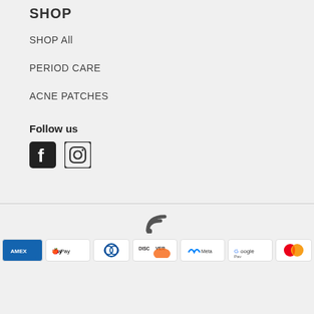SHOP
SHOP All
PERIOD CARE
ACNE PATCHES
Follow us
[Figure (logo): Facebook and Instagram social media icons]
[Figure (infographic): Payment method icons: Amazon, Amex, Apple Pay, Diners Club, Discover, Meta Pay, Google Pay, Mastercard, PayPal]